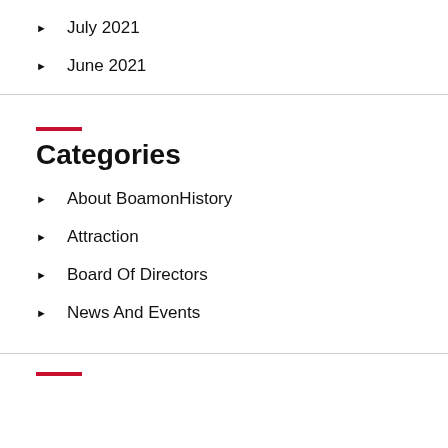July 2021
June 2021
Categories
About BoamonHistory
Attraction
Board Of Directors
News And Events